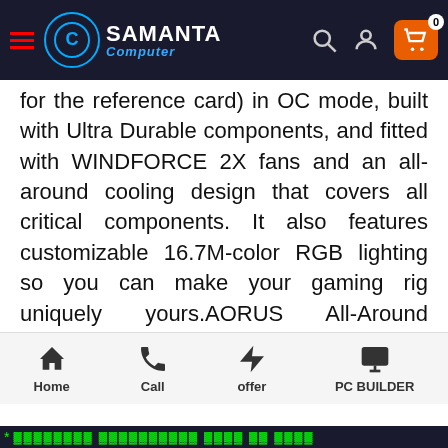Samanta Computer — navigation bar
for the reference card) in OC mode, built with Ultra Durable components, and fitted with WINDFORCE 2X fans and an all-around cooling design that covers all critical components. It also features customizable 16.7M-color RGB lighting so you can make your gaming rig uniquely yours.AORUS All-Around Cooling SolutionAORUS provides the all-around cooling solution for all key components of the graphics card. It keeps not only GPU but also VRAM and MOSFET cool, to ensure a stable overclocking operation and
Home | Call | offer | PC BUILDER